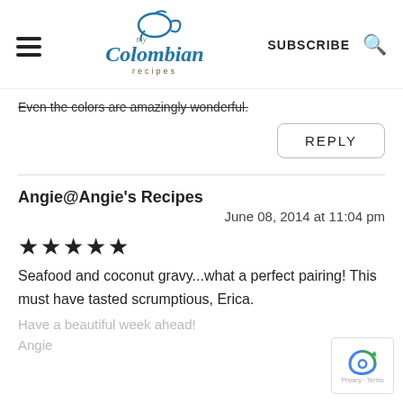my Colombian recipes | SUBSCRIBE
Even the colors are amazingly wonderful.
REPLY
Angie@Angie's Recipes
June 08, 2014 at 11:04 pm
★★★★★
Seafood and coconut gravy...what a perfect pairing! This must have tasted scrumptious, Erica.
Have a beautiful week ahead!
Angie